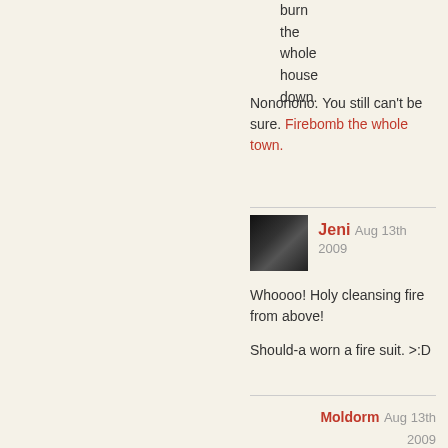burn the whole house down.
Nononono. You still can't be sure. Firebomb the whole town.
Jeni Aug 13th 2009
Whoooo! Holy cleansing fire from above!
Should-a worn a fire suit. >:D
Moldorm Aug 13th 2009